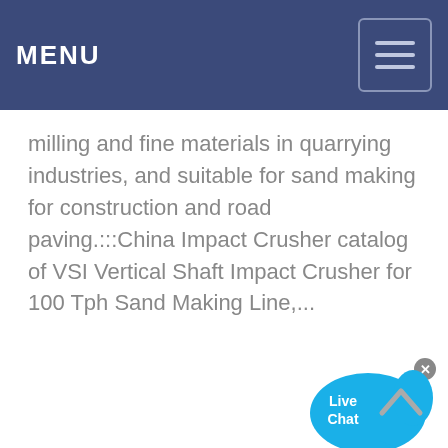MENU
milling and fine materials in quarrying industries, and suitable for sand making for construction and road paving.:::China Impact Crusher catalog of VSI Vertical Shaft Impact Crusher for 100 Tph Sand Making Line,...
[Figure (other): Live Chat bubble widget with blue speech bubble icon showing 'Live Chat' text and a close button (x)]
[Figure (other): Scroll to top arrow button (chevron/caret pointing up)]